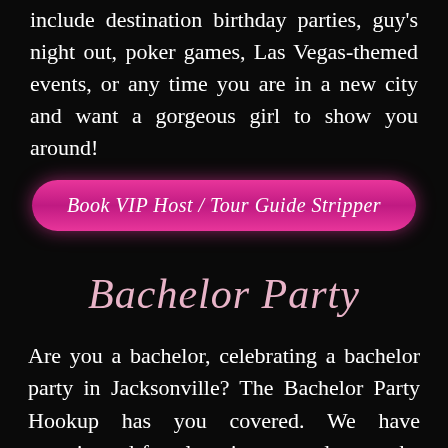include destination birthday parties, guy's night out, poker games, Las Vegas-themed events, or any time you are in a new city and want a gorgeous girl to show you around!
Book VIP Host / Tour Guide Stripper
Bachelor Party
Are you a bachelor, celebrating a bachelor party in Jacksonville? The Bachelor Party Hookup has you covered. We have experienced female strippers ready to make it a night you and your friends will remember. All of our exotic dancers